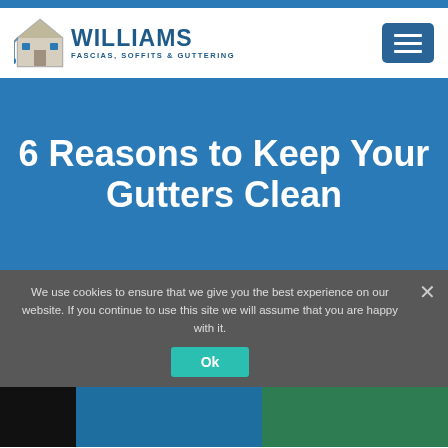[Figure (logo): Williams Fascias, Soffits & Guttering logo with house/gutter icon]
6 Reasons to Keep Your Gutters Clean
We use cookies to ensure that we give you the best experience on our website. If you continue to use this site we will assume that you are happy with it.